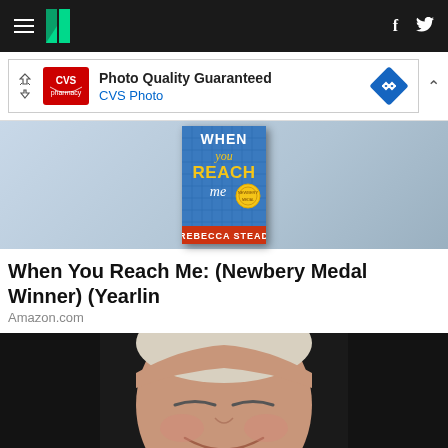HuffPost navigation with hamburger menu, logo, Facebook and Twitter icons
[Figure (illustration): CVS Photo advertisement banner: Photo Quality Guaranteed, CVS Photo logo, blue direction sign diamond]
[Figure (photo): Book cover: When You Reach Me by Rebecca Stead, Newbery Medal Winner, blue background with yellow and white text]
When You Reach Me: (Newbery Medal Winner) (Yearlin
Amazon.com
[Figure (photo): Close-up photo of an elderly white-haired man smiling with eyes nearly closed, against a dark background]